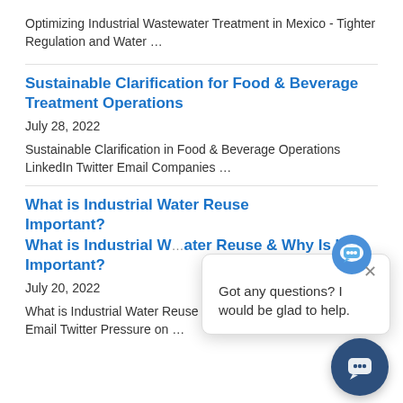Optimizing Industrial Wastewater Treatment in Mexico - Tighter Regulation and Water …
Sustainable Clarification for Food & Beverage Treatment Operations
July 28, 2022
Sustainable Clarification in Food & Beverage Operations LinkedIn Twitter Email Companies …
What is Industrial Water Reuse & Why Is It Important?
July 20, 2022
What is Industrial Water Reuse & Why Is It Important? LinkedIn Email Twitter Pressure on …
[Figure (screenshot): Chat popup overlay with icon, close button, and text 'Got any questions? I would be glad to help.' with a circular chat button in the bottom right corner.]